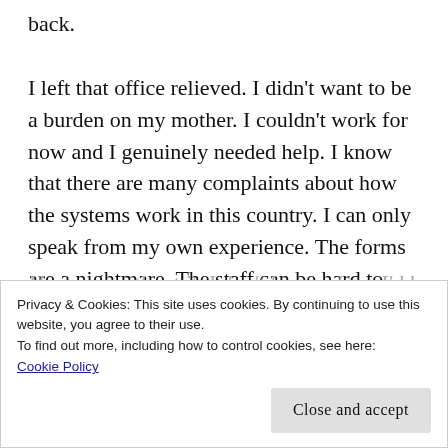back.
I left that office relieved. I didn’t want to be a burden on my mother. I couldn’t work for now and I genuinely needed help. I know that there are many complaints about how the systems work in this country. I can only speak from my own experience. The forms are a nightmare. The staff can be hard to approach. It feels like an invasion of your privacy. They look for the same documentation year after year.
However without it, I don’t know where I’d be
Privacy & Cookies: This site uses cookies. By continuing to use this website, you agree to their use.
To find out more, including how to control cookies, see here:
Cookie Policy
Close and accept